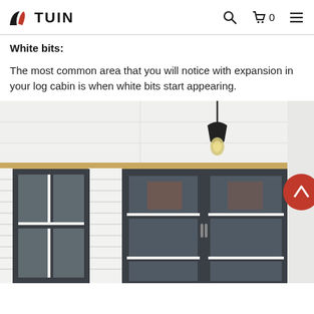TUIN
White bits:
The most common area that you will notice with expansion in your log cabin is when white bits start appearing.
[Figure (photo): Photo of a log cabin exterior showing white painted horizontal timber cladding with dark gray window frames and a hanging pendant light bulb fixture from a white ceiling.]